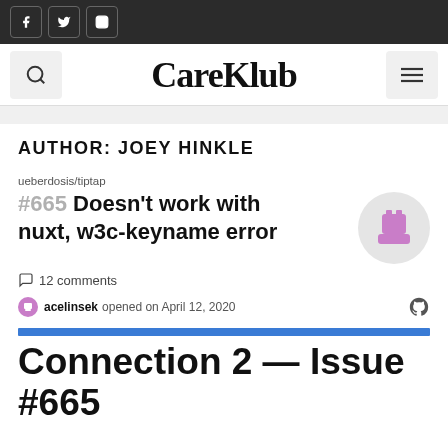CareKlub — social icons: f, twitter, instagram
CareKlub
AUTHOR: JOEY HINKLE
ueberdosis/tiptap
#665 Doesn't work with nuxt, w3c-keyname error
12 comments
acelinsek opened on April 12, 2020
Connection 2 — Issue #665